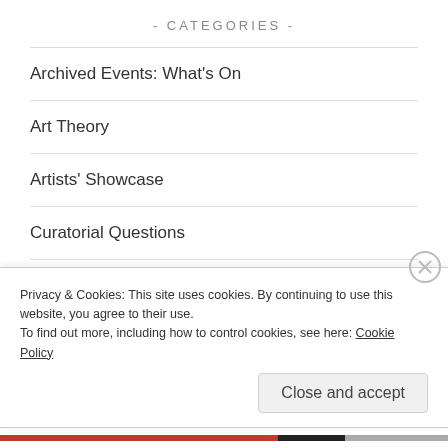- CATEGORIES -
Archived Events: What's On
Art Theory
Artists' Showcase
Curatorial Questions
Exhibitions
German Expressionism and Outsider Art
Privacy & Cookies: This site uses cookies. By continuing to use this website, you agree to their use.
To find out more, including how to control cookies, see here: Cookie Policy
Close and accept